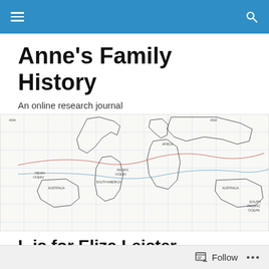Anne's Family History — navigation bar
Anne's Family History
An online research journal
[Figure (map): Vintage world map with grid lines and ship route lines drawn in red/blue, showing continents including Asia, Africa, Australia, South America, North America. Labels visible: PACIFIC OCEAN, INDIAN OCEAN, AUSTRALIA, SOUTH AMERICA, ASIA, AFRICA.]
L is for Eliza Leister
I have decided to continue
[Figure (illustration): Thumbnail image with teal/green background and dark letter or figure visible]
Follow …